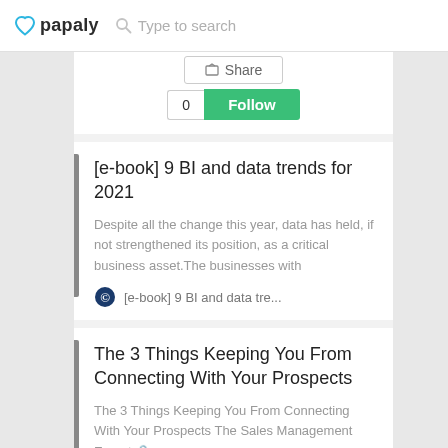papaly — Type to search
[Figure (screenshot): Share button and Follow button with count 0]
[e-book] 9 BI and data trends for 2021
Despite all the change this year, data has held, if not strengthened its position, as a critical business asset.The businesses with
[e-book] 9 BI and data tre...
The 3 Things Keeping You From Connecting With Your Prospects
The 3 Things Keeping You From Connecting With Your Prospects The Sales Management Expert 🔒